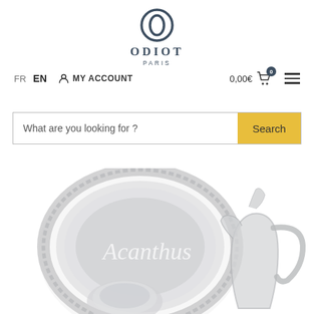[Figure (logo): Odiot Paris logo with circular O emblem and text ODIOT PARIS]
FR  EN  MY ACCOUNT  0,00€  [cart icon with 0 badge]  [menu icon]
What are you looking for ?  Search
[Figure (photo): Silver tableware including a large decorative plate/tray with ornate border, a smaller round dish or bowl, and a decorative silver jug/ewer with Acanthus text overlay]